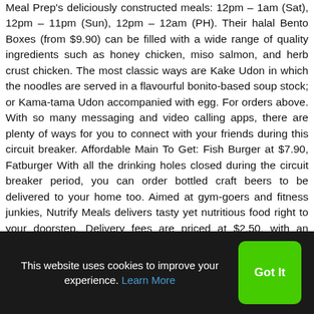Meal Prep's deliciously constructed meals: 12pm – 1am (Sat), 12pm – 11pm (Sun), 12pm – 12am (PH). Their halal Bento Boxes (from $9.90) can be filled with a wide range of quality ingredients such as honey chicken, miso salmon, and herb crust chicken. The most classic ways are Kake Udon in which the noodles are served in a flavourful bonito-based soup stock; or Kama-tama Udon accompanied with egg. For orders above. With so many messaging and video calling apps, there are plenty of ways for you to connect with your friends during this circuit breaker. Affordable Main To Get: Fish Burger at $7.90, Fatburger With all the drinking holes closed during the circuit breaker period, you can order bottled craft beers to be delivered to your home too. Aimed at gym-goers and fitness junkies, Nutrify Meals delivers tasty yet nutritious food right to your doorstep. Delivery fees are priced at $2.50, with an additional surcharge of $1.50 for orders at the CBD, Orchard Road and Marina Bay, with a $5 surcharge for orders located
This website uses cookies to improve your experience. Learn More